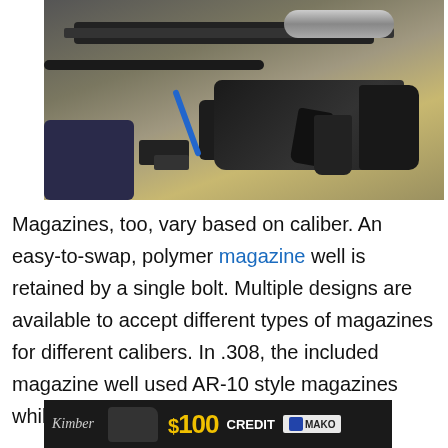[Figure (photo): Disassembled precision rifle with scope, barrel, stock, grip, magazine, and small tools laid out on a concrete surface]
Magazines, too, vary based on caliber. An easy-to-swap, polymer magazine well is retained by a single bolt. Multiple designs are available to accept different types of magazines for different calibers. In .308, the included magazine well used AR-10 style magazines while, in .300 WM, it accepted AI mags.
[Figure (photo): Advertisement banner: Kimber logo, handgun image, $100 CREDIT text, and MAKO logo on dark background]